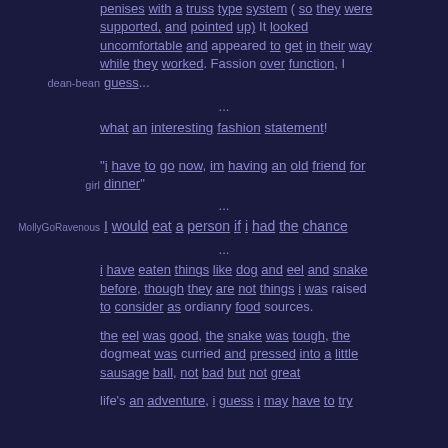penises with a truss type system ( so they were supported, and pointed up) It looked uncomfortable and appeared to get in their way while they worked. Fassion over function, I guess...
...
what an interesting fashion statement!
"i have to go now, im having an old friend for girl dinner"
...
MollyGoRavenous I would eat a person if i had the chance
...
i have eaten things like dog and eel and snake before, though they are not things i was raised to consider as ordianry food sources.
the eel was good, the snake was tough, the dogmeat was curried and pressed into a little sausage ball, not bad but not great
life's an adventure, i guess i may have to try